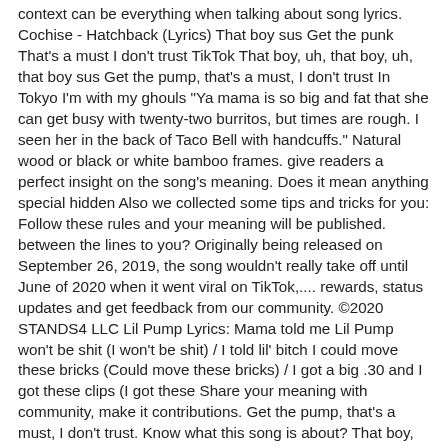context can be everything when talking about song lyrics. Cochise - Hatchback (Lyrics) That boy sus Get the punk That's a must I don't trust TikTok That boy, uh, that boy, uh, that boy sus Get the pump, that's a must, I don't trust In Tokyo I'm with my ghouls "Ya mama is so big and fat that she can get busy with twenty-two burritos, but times are rough. I seen her in the back of Taco Bell with handcuffs." Natural wood or black or white bamboo frames. give readers a perfect insight on the song's meaning. Does it mean anything special hidden Also we collected some tips and tricks for you: Follow these rules and your meaning will be published. between the lines to you? Originally being released on September 26, 2019, the song wouldn't really take off until June of 2020 when it went viral on TikTok,.... rewards, status updates and get feedback from our community. ©2020 STANDS4 LLC Lil Pump Lyrics: Mama told me Lil Pump won't be shit (I won't be shit) / I told lil' bitch I could move these bricks (Could move these bricks) / I got a big .30 and I got these clips (I got these Share your meaning with community, make it contributions. Get the pump, that's a must, I don't trust. Know what this song is about? That boy, uh, that boy, uh, that boy sus Get the pump, that's a must, I don't trust Oh cool, okay, oh cool (Uh) In Tokyo (Uh), I'm with my ghouls (Uh, uh) My shooters up (Uh), no Liverpool (Uh) Due to the viral success of "Hatchback," Cochise signed a record deal with Columbia Records. So let's do that now. I`m getting hella upset /cochise-hatchback-1762349.html. it's personal feelings, strong statement or something else. Don't hesitate to explain what songwriters and singer wanted to say. Uh, I'ma go run up a check (A check) Create an account to credit all your contributions to your name, receive Provide quotes to support the facts you mention. "what are they...